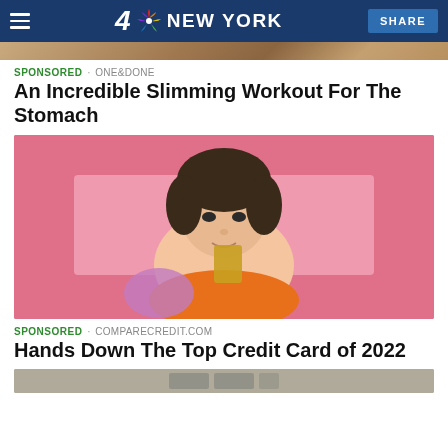4 NBC NEW YORK | SHARE
[Figure (photo): Partial top image strip showing a brown/beige colored background, cropped]
SPONSORED · ONE&DONE
An Incredible Slimming Workout For The Stomach
[Figure (photo): Young woman with dark hair in an updo and bangs, smiling, holding a gold/tan card near her face, wearing an orange top, photographed against a bright pink background]
SPONSORED · COMPARECREDIT.COM
Hands Down The Top Credit Card of 2022
[Figure (photo): Partial bottom image, partially visible, appears to show a financial card or related imagery]